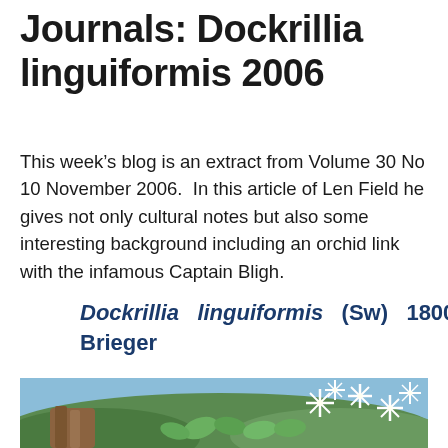Journals: Dockrillia linguiformis 2006
This week's blog is an extract from Volume 30 No 10 November 2006.  In this article of Len Field he gives not only cultural notes but also some interesting background including an orchid link with the infamous Captain Bligh.
Dockrillia linguiformis (Sw) 1800 Brieger
[Figure (photo): Photograph of Dockrillia linguiformis orchid showing white star-shaped flowers with green fleshy leaves and brown bark/wood substrate in the background.]